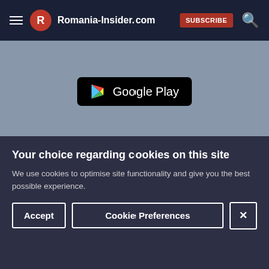Romania-Insider.com SUBSCRIBE
[Figure (screenshot): Google Play store badge on grey banner background]
Daily news
Memberships
Profiles & interviews
Newsletters
Discover Romania
Our team
Community
Advertising on this site
Your choice regarding cookies on this site
We use cookies to optimise site functionality and give you the best possible experience.
Accept | Cookie Preferences | X